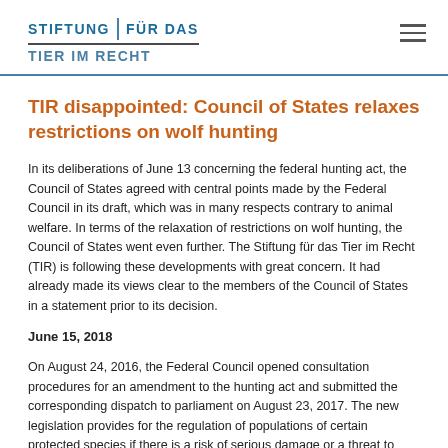STIFTUNG | FÜR DAS TIER IM RECHT
TIR disappointed: Council of States relaxes restrictions on wolf hunting
In its deliberations of June 13 concerning the federal hunting act, the Council of States agreed with central points made by the Federal Council in its draft, which was in many respects contrary to animal welfare. In terms of the relaxation of restrictions on wolf hunting, the Council of States went even further. The Stiftung für das Tier im Recht (TIR) is following these developments with great concern. It had already made its views clear to the members of the Council of States in a statement prior to its decision.
June 15, 2018
On August 24, 2016, the Federal Council opened consultation procedures for an amendment to the hunting act and submitted the corresponding dispatch to parliament on August 23, 2017. The new legislation provides for the regulation of populations of certain protected species if there is a risk of serious damage or a threat to humans despite preventive measures. In addition, the federal government grants the cantons extensive authority